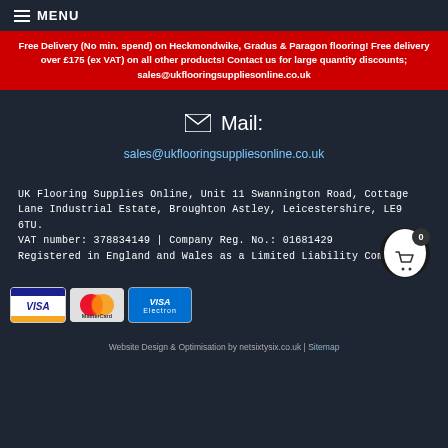≡ MENU
Free Delivery (No min. spend) on Heckmondwike, Gradus & Paragon flooring! Free delivery over £175 (ex VAT) on all other products! Contact us for large quantity discounts; sales@ukflooringsuppliesonline.co.uk
✉ Mail:
sales@ukflooringsuppliesonline.co.uk
UK Flooring Supplies Online, Unit 11 Swannington Road, Cottage Lane Industrial Estate, Broughton Astley, Leicestershire, LE9 6TU.
VAT number: 378834149 | Company Reg. No.: 01681429
Registered in England and Wales as a Limited Liability Company.
[Figure (illustration): Payment method logos: Visa, MasterCard, Visa Electron]
Website Design & Optimisation by netsixtysix.co.uk | Sitemap